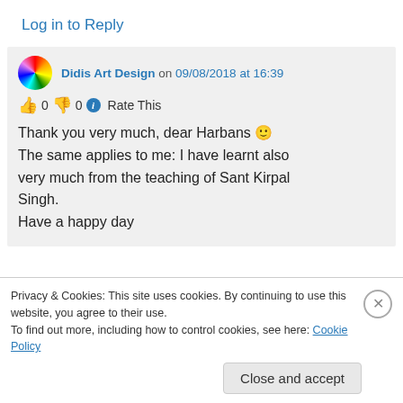Log in to Reply
Didis Art Design on 09/08/2018 at 16:39
👍 0 👎 0 ℹ Rate This
Thank you very much, dear Harbans 🙂
The same applies to me: I have learnt also very much from the teaching of Sant Kirpal Singh.
Have a happy day
Privacy & Cookies: This site uses cookies. By continuing to use this website, you agree to their use.
To find out more, including how to control cookies, see here: Cookie Policy
Close and accept